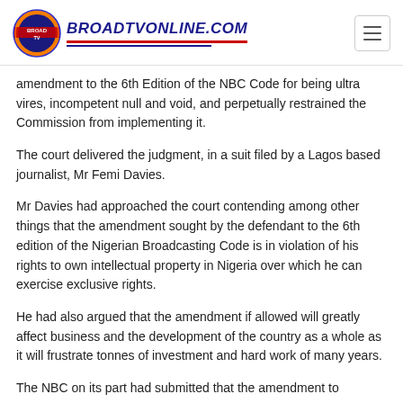BROADTVONLINE.COM
amendment to the 6th Edition of the NBC Code for being ultra vires, incompetent null and void, and perpetually restrained the Commission from implementing it.
The court delivered the judgment, in a suit filed by a Lagos based journalist, Mr Femi Davies.
Mr Davies had approached the court contending among other things that the amendment sought by the defendant to the 6th edition of the Nigerian Broadcasting Code is in violation of his rights to own intellectual property in Nigeria over which he can exercise exclusive rights.
He had also argued that the amendment if allowed will greatly affect business and the development of the country as a whole as it will frustrate tonnes of investment and hard work of many years.
The NBC on its part had submitted that the amendment to